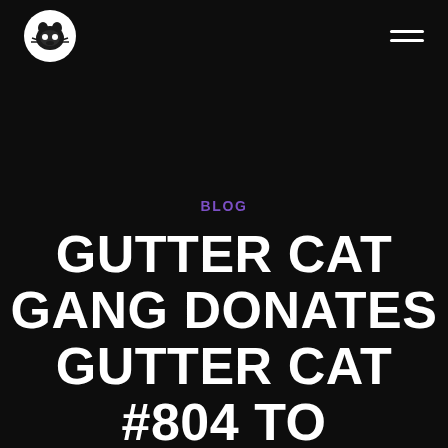[Logo] [Hamburger menu]
BLOG
GUTTER CAT GANG DONATES GUTTER CAT #804 TO BLANKETS OF HOPE NFT CHARITY